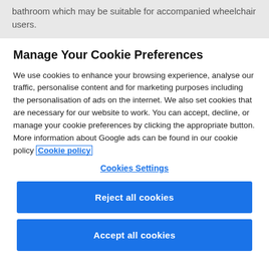bathroom which may be suitable for accompanied wheelchair users.
Manage Your Cookie Preferences
We use cookies to enhance your browsing experience, analyse our traffic, personalise content and for marketing purposes including the personalisation of ads on the internet. We also set cookies that are necessary for our website to work. You can accept, decline, or manage your cookie preferences by clicking the appropriate button. More information about Google ads can be found in our cookie policy Cookie policy
Cookies Settings
Reject all cookies
Accept all cookies